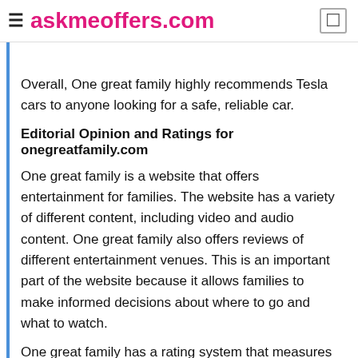≡ askmeoffers.com
Overall, One great family highly recommends Tesla cars to anyone looking for a safe, reliable car.
Editorial Opinion and Ratings for onegreatfamily.com
One great family is a website that offers entertainment for families. The website has a variety of different content, including video and audio content. One great family also offers reviews of different entertainment venues. This is an important part of the website because it allows families to make informed decisions about where to go and what to watch.
One great family has a rating system that measures everything from customer service to the quality of the content. This rating system is important because it helps to ensure that families can find entertainment that meets their specific needs.